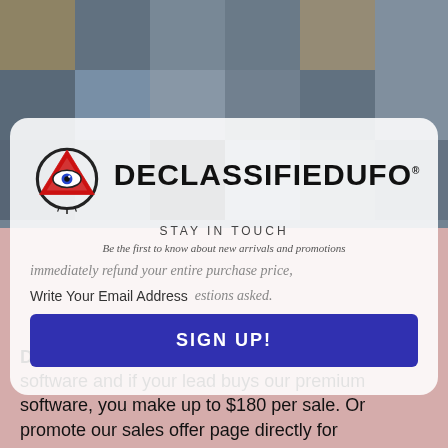[Figure (photo): Background collage of UFO-related images]
[Figure (logo): DeclassifiedUFO logo with triangular eye symbol and bold text]
STAY IN TOUCH
Be the first to know about new arrivals and promotions
immediately refund your entire purchase price,
Write Your Email Address    questions asked.
SIGN UP!
Description: Give a  free ten  trading software and if your lead buys our premium software, you make up to $180 per sale. Or promote our sales offer page directly for